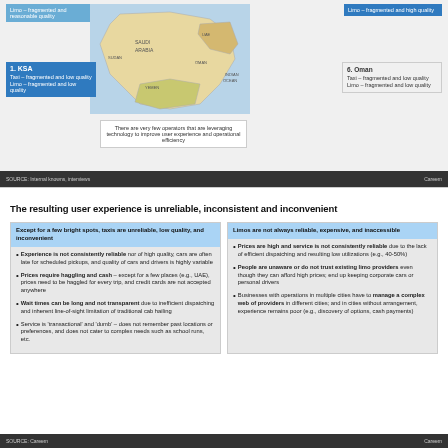Limo – fragmented and reasonable quality
[Figure (map): Map of Middle East / Arabian Peninsula region]
Limo – fragmented and high quality
1. KSA
Taxi – fragmented and low quality
Limo – fragmented and low quality
6. Oman
Taxi – fragmented and low quality
Limo – fragmented and low quality
There are very few operators that are leveraging technology to improve user experience and operational efficiency
SOURCE: Internal knowns, interviews   Careem
The resulting user experience is unreliable, inconsistent and inconvenient
Except for a few bright spots, taxis are unreliable, low quality, and inconvenient
Experience is not consistently reliable nor of high quality, cars are often late for scheduled pickups, and quality of cars and drivers is highly variable
Prices require haggling and cash – except for a few places (e.g., UAE), prices need to be haggled for every trip, and credit cards are not accepted anywhere
Wait times can be long and not transparent due to inefficient dispatching and inherent line-of-sight limitation of traditional cab hailing
Service is 'transactional' and 'dumb' – does not remember past locations or preferences, and does not cater to complex needs such as school runs, etc.
Limos are not always reliable, expensive, and inaccessible
Prices are high and service is not consistently reliable due to the lack of efficient dispatching and resulting low utilizations (e.g., 40-50%)
People are unaware or do not trust existing limo providers even though they can afford high prices; end up keeping corporate cars or personal drivers
Businesses with operations in multiple cities have to manage a complex web of providers in different cities; and in cities without arrangement, experience remains poor (e.g., discovery of options, cash payments)
SOURCE: Careem   Careem